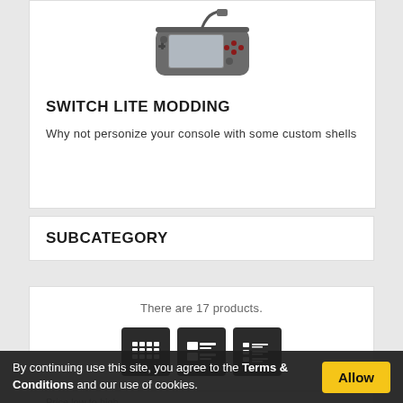[Figure (photo): Nintendo Switch Lite gaming console shown at an angle with grey body and red buttons]
SWITCH LITE MODDING
Why not personize your console with some custom shells
SUBCATEGORY
There are 17 products.
[Figure (other): Three view toggle buttons: grid view, list view, and compact list view]
Price low to high...
By continuing use this site, you agree to the Terms & Conditions and our use of cookies.